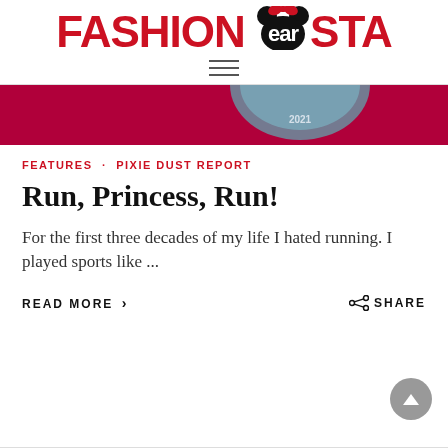FASHIONEARSTA
[Figure (photo): A decorative medal or coin on a magenta/crimson background, partially visible at top of hero banner, with '2021' visible on the medal.]
FEATURES · PIXIE DUST REPORT
Run, Princess, Run!
For the first three decades of my life I hated running. I played sports like ...
READ MORE › SHARE